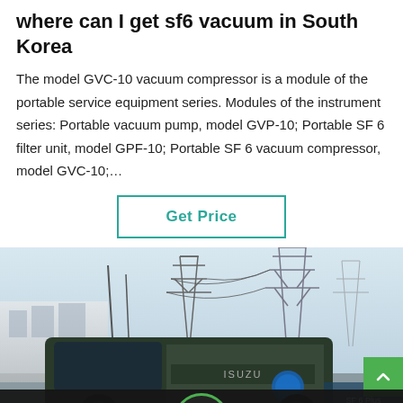where can I get sf6 vacuum in South Korea
The model GVC-10 vacuum compressor is a module of the portable service equipment series. Modules of the instrument series: Portable vacuum pump, model GVP-10; Portable SF 6 filter unit, model GPF-10; Portable SF 6 vacuum compressor, model GVC-10;…
Get Price
[Figure (photo): A service truck (Isuzu) parked in front of large electrical power transmission towers/pylons under a pale sky. The scene shows an industrial substation environment.]
Leave Message   Chat Online